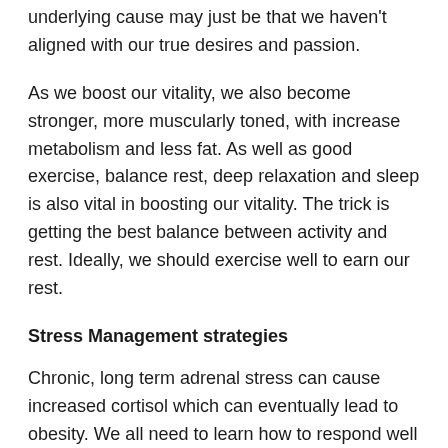underlying cause may just be that we haven't aligned with our true desires and passion.
As we boost our vitality, we also become stronger, more muscularly toned, with increase metabolism and less fat. As well as good exercise, balance rest, deep relaxation and sleep is also vital in boosting our vitality. The trick is getting the best balance between activity and rest. Ideally, we should exercise well to earn our rest.
Stress Management strategies
Chronic, long term adrenal stress can cause increased cortisol which can eventually lead to obesity. We all need to learn how to respond well to challengers rather than just reacting in a stressed way. Remember, some stresses are more due to internal dysfunctions.